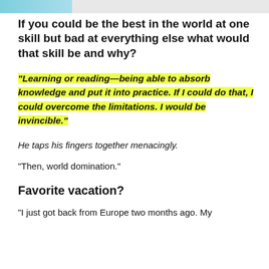If you could be the best in the world at one skill but bad at everything else what would that skill be and why?
“Learning or reading—being able to absorb knowledge and put it into practice. If I could do that, I could overcome the limitations. I would be invincible.”
He taps his fingers together menacingly.
“Then, world domination.”
Favorite vacation?
“I just got back from Europe two months ago. My